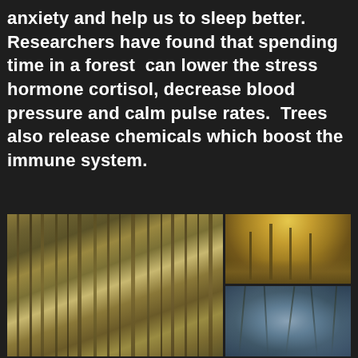anxiety and help us to sleep better. Researchers have found that spending time in a forest  can lower the stress hormone cortisol, decrease blood pressure and calm pulse rates.  Trees also release chemicals which boost the immune system.
[Figure (photo): Three forest photos: large image of dense conifer forest with tall straight tree trunks, top-right image of autumn deciduous forest with golden/yellow leaves and a path, bottom-right image looking up through bare winter tree canopy against blue-grey sky.]